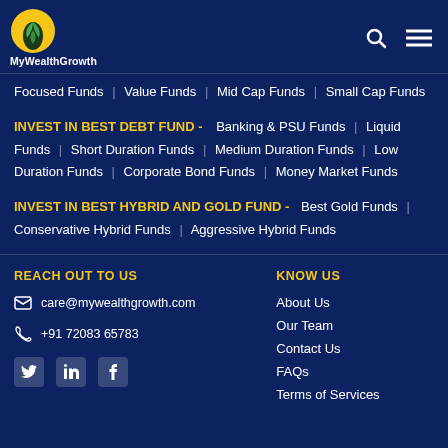MyWealthGrowth
Focused Funds | Value Funds | Mid Cap Funds | Small Cap Funds
INVEST IN BEST DEBT FUND - Banking & PSU Funds | Liquid Funds | Short Duration Funds | Medium Duration Funds | Low Duration Funds | Corporate Bond Funds | Money Market Funds
INVEST IN BEST HYBRID AND GOLD FUND - Best Gold Funds | Conservative Hybrid Funds | Aggressive Hybrid Funds
REACH OUT TO US
care@mywealthgrowth.com
+91 72083 65783
KNOW US
About Us
Our Team
Contact Us
FAQs
Terms of Services